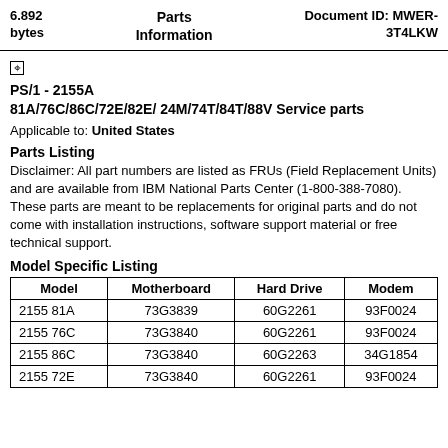6.892 bytes   Parts Information   Document ID: MWER-3T4LKW
[Figure (other): Small square icon/checkbox symbol]
PS/1 - 2155A
81A/76C/86C/72E/82E/ 24M/74T/84T/88V Service parts
Applicable to: United States
Parts Listing
Disclaimer: All part numbers are listed as FRUs (Field Replacement Units) and are available from IBM National Parts Center (1-800-388-7080). These parts are meant to be replacements for original parts and do not come with installation instructions, software support material or free technical support.
Model Specific Listing
| Model | Motherboard | Hard Drive | Modem |
| --- | --- | --- | --- |
| 2155 81A | 73G3839 | 60G2261 | 93F0024 |
| 2155 76C | 73G3840 | 60G2261 | 93F0024 |
| 2155 86C | 73G3840 | 60G2263 | 34G1854 |
| 2155 72E | 73G3840 | 60G2261 | 93F0024 |